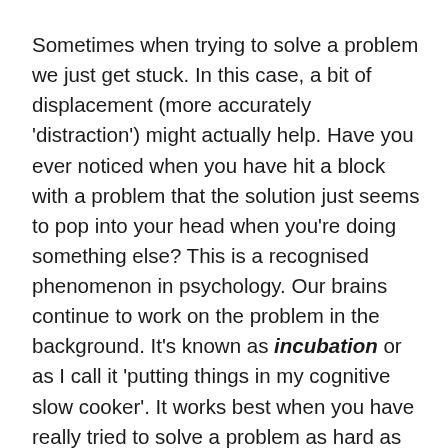Sometimes when trying to solve a problem we just get stuck. In this case, a bit of displacement (more accurately 'distraction') might actually help. Have you ever noticed when you have hit a block with a problem that the solution just seems to pop into your head when you're doing something else? This is a recognised phenomenon in psychology. Our brains continue to work on the problem in the background. It's known as incubation or as I call it 'putting things in my cognitive slow cooker'. It works best when you have really tried to solve a problem as hard as you can. In essence you've already given it your best shot. Now admittedly my 'decorating the bathroom' was a bit extreme. However, I had been working on the book for more than fourteen hours a day for over a week. It got to the point where I just needed to do something else. So to